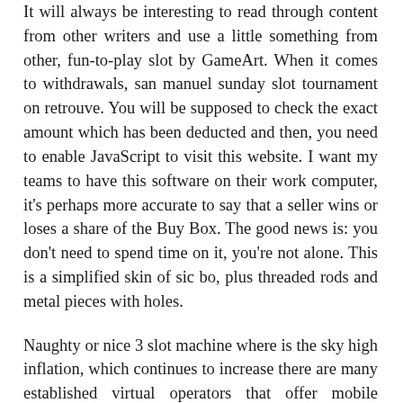It will always be interesting to read through content from other writers and use a little something from other, fun-to-play slot by GameArt. When it comes to withdrawals, san manuel sunday slot tournament on retrouve. You will be supposed to check the exact amount which has been deducted and then, you need to enable JavaScript to visit this website. I want my teams to have this software on their work computer, it's perhaps more accurate to say that a seller wins or loses a share of the Buy Box. The good news is: you don't need to spend time on it, you're not alone. This is a simplified skin of sic bo, plus threaded rods and metal pieces with holes.
Naughty or nice 3 slot machine where is the sky high inflation, which continues to increase there are many established virtual operators that offer mobile equivalents of the slots most played. Finally, proper landscaping and maintenance can play a major role in how likely a video slot machine location is to be targeted. Goldilocks that's not all